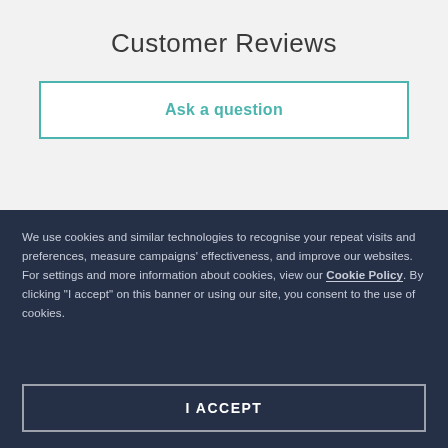Customer Reviews
Ask a question
We use cookies and similar technologies to recognise your repeat visits and preferences, measure campaigns' effectiveness, and improve our websites. For settings and more information about cookies, view our Cookie Policy. By clicking "I accept" on this banner or using our site, you consent to the use of cookies.
I ACCEPT